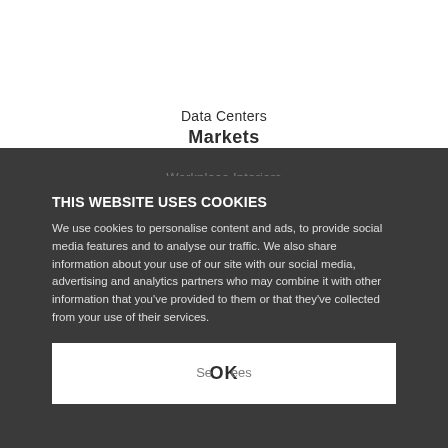Markets
Data Centers
Workplace Interiors
High Rise Buildings
Mixed-Use & Transit Oriented Dev.
Health Centers
THIS WEBSITE USES COOKIES
We use cookies to personalise content and ads, to provide social media features and to analyse our traffic. We also share information about your use of our site with our social media, advertising and analytics partners who may combine it with other information that you've provided to them or that they've collected from your use of their services.
OK
MEP/FP Engineering